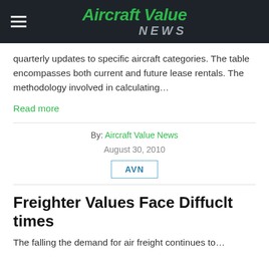Aircraft Value NEWS
quarterly updates to specific aircraft categories. The table encompasses both current and future lease rentals. The methodology involved in calculating…
Read more
By: Aircraft Value News
August 30, 2010
AVN
Freighter Values Face Diffuclt times
The falling the demand for air freight continues to…